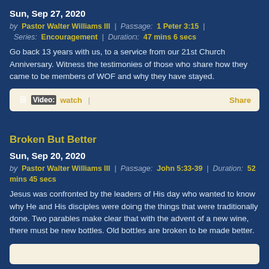Sun, Sep 27, 2020
by Pastor Walter Williams III | Passage: 1 Peter 3:15 | Series: Encouragement | Duration: 47 mins 6 secs
Go back 13 years with us, to a service from our 21st Church Anniversary. Witness the testimonies of those who share how they came to be members of WOF and why they have stayed.
[Figure (other): Video watch and Share bar with light background]
Broken But Better
Sun, Sep 20, 2020
by Pastor Walter Williams III | Passage: John 5:33-39 | Duration: 52 mins 45 secs
Jesus was confronted by the leaders of His day who wanted to know why He and His disciples were doing the things that were traditionally done. Two parables make clear that with the advent of a new wine, there must be new bottles. Old bottles are broken to be made better.
[Figure (other): Bottom light-colored bar (partial video/share bar)]